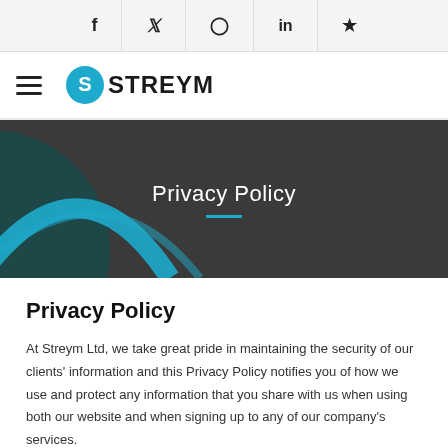f  ✦  in  ★  (social icons bar)
[Figure (logo): Streym logo with hamburger menu icon and circular S icon followed by STREYM text in bold]
Privacy Policy
Privacy Policy
At Streym Ltd, we take great pride in maintaining the security of our clients' information and this Privacy Policy notifies you of how we use and protect any information that you share with us when using both our website and when signing up to any of our company's services.